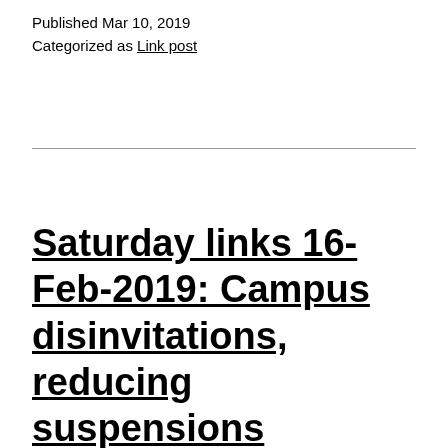Published Mar 10, 2019
Categorized as Link post
Saturday links 16-Feb-2019: Campus disinvitations, reducing suspensions backfires, college loans, Fortnite is all about the social